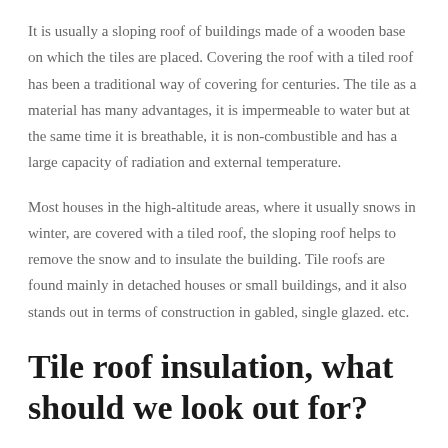It is usually a sloping roof of buildings made of a wooden base on which the tiles are placed. Covering the roof with a tiled roof has been a traditional way of covering for centuries. The tile as a material has many advantages, it is impermeable to water but at the same time it is breathable, it is non-combustible and has a large capacity of radiation and external temperature.
Most houses in the high-altitude areas, where it usually snows in winter, are covered with a tiled roof, the sloping roof helps to remove the snow and to insulate the building. Tile roofs are found mainly in detached houses or small buildings, and it also stands out in terms of construction in gabled, single glazed. etc.
Tile roof insulation, what should we look out for?
Properly covered, it will withstand a great deal of adverse conditions.